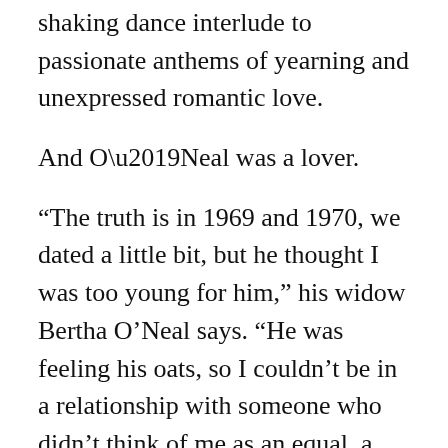shaking dance interlude to passionate anthems of yearning and unexpressed romantic love.
And O’Neal was a lover.
“The truth is in 1969 and 1970, we dated a little bit, but he thought I was too young for him,” his widow Bertha O’Neal says. “He was feeling his oats, so I couldn’t be in a relationship with someone who didn’t think of me as an equal, a kid or something.” O’Neal married another woman, Mary Felice Lovelace, which ended in divorce; as did his second marriage, to Marilyn Norton, the mother of his children Wendi and William. Then in 1992 he reconnected with Bertha.
“I was staying in Atlanta,” Bertha says. “He called